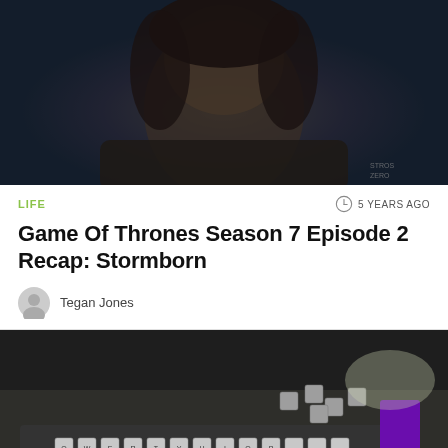[Figure (photo): Dark screenshot from Game of Thrones showing a character's face from chin up, dimly lit, blue-grey tones]
LIFE
5 YEARS AGO
Game Of Thrones Season 7 Episode 2 Recap: Stormborn
Tegan Jones
[Figure (photo): Photo of a mechanical keyboard being assembled/disassembled with gray keycaps, some keycaps removed, purple trim, red key, on a dark desk surface]